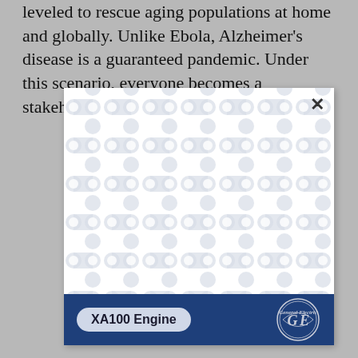leveled to rescue aging populations at home and globally. Unlike Ebola, Alzheimer's disease is a guaranteed pandemic. Under this scenario, everyone becomes a stakeholder; everyone is at risk.
[Figure (illustration): A pop-up advertisement overlay on the article page. The ad shows a white panel with a repeating geometric pattern (interlocked circles/ovals in light gray on white), a close button (×) in the top right, and a dark blue footer bar containing a pill-shaped label reading 'XA100 Engine' and the GE (General Electric) logo on the right.]